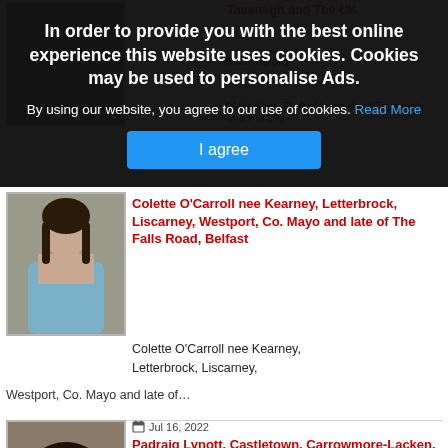In order to provide you with the best online experience this website uses cookies. Cookies may be used to personalise Ads.
By using our website, you agree to our use of cookies. Read More
I agree
[Figure (photo): Portrait photo of a woman with dark hair, wearing a light blue top]
Colette O'Carroll nee Kearney, Letterbrock, Liscarney, Westport, Co. Mayo and late of The Falls Road, Belfast
Colette O'Carroll nee Kearney,
Letterbrock, Liscarney,
Westport, Co. Mayo and late of…
[Figure (photo): Portrait photo of a middle-aged man]
Jul 16, 2022
Padraig Lynott, Castletown, Carrowmore-Lacken, Ballina
Padraig Lynott,